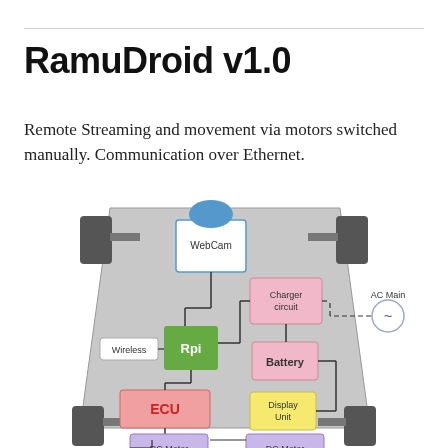RamuDroid v1.0
Remote Streaming and movement via motors switched manually. Communication over Ethernet.
[Figure (schematic): RamuDroid v1.0 system schematic showing a robot chassis (top-down view) with components: WebCam (blue, top center), Raspberry Pi / Rpi (green, center-left), Charger circuit (pink, center-right), Battery (pink, right-center), Display Unit (yellow, center-right), ECU (pink/red, lower-left), two DC Motors (purple, bottom), Wireless label (left), AC Main with tilde symbol (far right, dashed line to Charger circuit). Components connected by lines indicating wiring.]